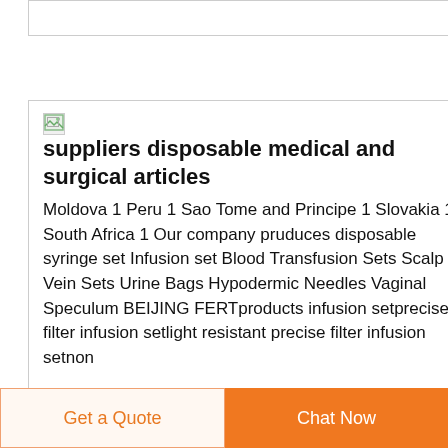[Figure (other): Top bar placeholder image area]
[Figure (other): Broken image icon placeholder for supplier listing]
suppliers disposable medical and surgical articles
Moldova 1 Peru 1 Sao Tome and Principe 1 Slovakia 1 South Africa 1 Our company pruduces disposable syringe set Infusion set Blood Transfusion Sets Scalp Vein Sets Urine Bags Hypodermic Needles Vaginal Speculum BEIJING FERTproducts infusion setprecise filter infusion setlight resistant precise filter infusion setnon
Get a Quote
Chat Now